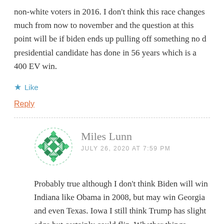non-white voters in 2016. I don't think this race changes much from now to november and the question at this point will be if biden ends up pulling off something no d presidential candidate has done in 56 years which is a 400 EV win.
★ Like
Reply
Miles Lunn
JULY 26, 2020 AT 7:59 PM
Probably true although I don't think Biden will win Indiana like Obama in 2008, but may win Georgia and even Texas. Iowa I still think Trump has slight edge but certainly could flip. Whether things